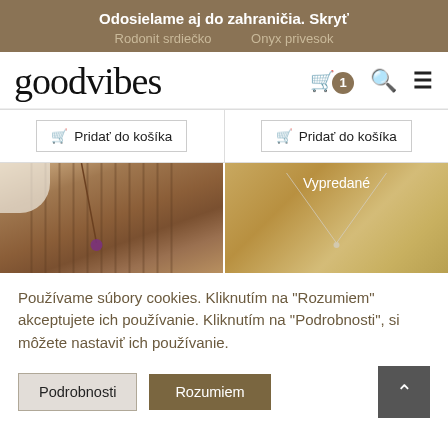Odosielame aj do zahraničia. Skryť
Rodonit srdiečko   Onyx privesok
[Figure (logo): goodvibes script logo with shopping cart badge showing 1, search icon, and hamburger menu icon]
Pridať do košíka   Pridať do košíka
[Figure (photo): Left: jewelry item with brown corrugated background. Right: necklace on golden background with 'Vypredané' (sold out) label]
Vypredané
Používame súbory cookies. Kliknutím na "Rozumiem" akceptujete ich používanie. Kliknutím na "Podrobnosti", si môžete nastaviť ich používanie.
Podrobnosti   Rozumiem